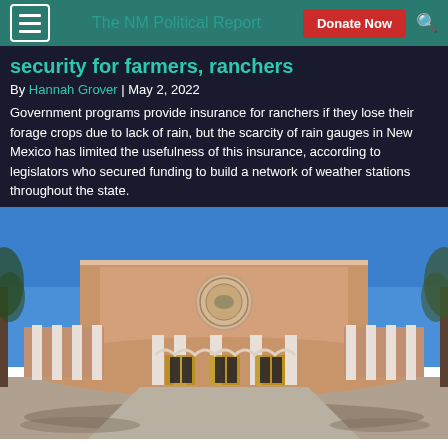The NM Political Report
security for farmers, ranchers
By Hannah Grover | May 2, 2022
Government programs provide insurance for ranchers if they lose their forage crops due to lack of rain, but the scarcity of rain gauges in New Mexico has limited the usefulness of this insurance, according to legislators who secured funding to build a network of weather stations throughout the state.
[Figure (photo): Front exterior of the New Mexico State Capitol building (Roundhouse) in Santa Fe, NM, photographed from ground level showing the curved facade with white columns, central state seal medallion, and blue sky background.]